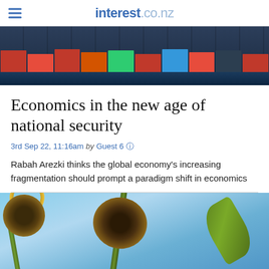interest.co.nz
[Figure (photo): Shipping containers stacked on a cargo vessel, seen from the side, with red, blue, and green containers and dark water visible.]
Economics in the new age of national security
3rd Sep 22, 11:16am by Guest 6
Rabah Arezki thinks the global economy's increasing fragmentation should prompt a paradigm shift in economics
[Figure (photo): Dried and wilted sunflowers drooping against a blue sky background.]